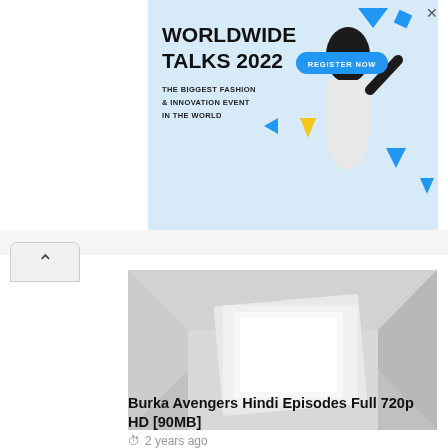[Figure (illustration): Advertisement banner for Worldwide Talks 2022 fashion event. Light blue background with geometric shapes (blue and yellow triangles, squares), a fashion model, bold text 'WORLDWIDE TALKS 2022', subtitle 'THE BIGGEST FASHION & INNOVATION EVENT IN THE WORLD', and a blue 'REGISTER NOW' button. Close (X) icon at top right.]
[Figure (photo): Abstract geometric image of nested squares (paper/panels) centered on a light gray background, with subtle shadow effects creating a layered 3D look.]
Burka Avengers Hindi Episodes Full 720p HD [90MB]
2 years ago